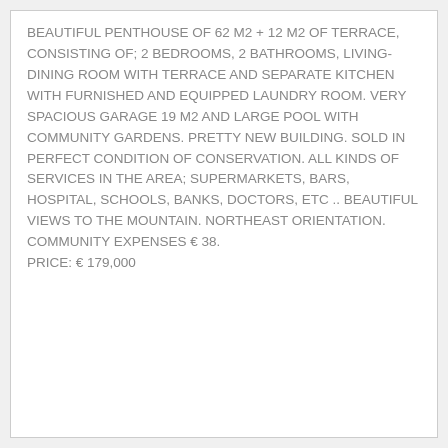BEAUTIFUL PENTHOUSE OF 62 M2 + 12 M2 OF TERRACE, CONSISTING OF; 2 BEDROOMS, 2 BATHROOMS, LIVING-DINING ROOM WITH TERRACE AND SEPARATE KITCHEN WITH FURNISHED AND EQUIPPED LAUNDRY ROOM. VERY SPACIOUS GARAGE 19 M2 AND LARGE POOL WITH COMMUNITY GARDENS. PRETTY NEW BUILDING. SOLD IN PERFECT CONDITION OF CONSERVATION. ALL KINDS OF SERVICES IN THE AREA; SUPERMARKETS, BARS, HOSPITAL, SCHOOLS, BANKS, DOCTORS, ETC .. BEAUTIFUL VIEWS TO THE MOUNTAIN. NORTHEAST ORIENTATION. COMMUNITY EXPENSES € 38.
PRICE: € 179,000